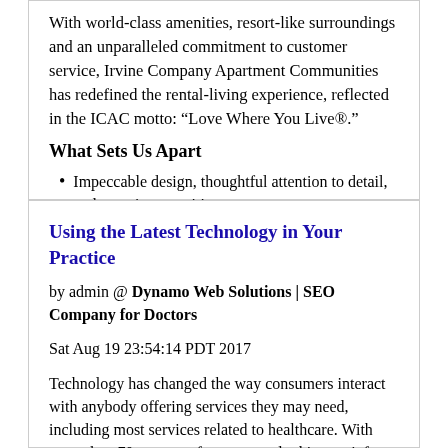With world-class amenities, resort-like surroundings and an unparalleled commitment to customer service, Irvine Company Apartment Communities has redefined the rental-living experience, reflected in the ICAC motto: “Love Where You Live®.”
What Sets Us Apart
Impeccable design, thoughtful attention to detail, and superior amenities
Using the Latest Technology in Your Practice
by admin @ Dynamo Web Solutions | SEO Company for Doctors
Sat Aug 19 23:54:14 PDT 2017
Technology has changed the way consumers interact with anybody offering services they may need, including most services related to healthcare. With more than 70 percent of consumers looking up info online before making